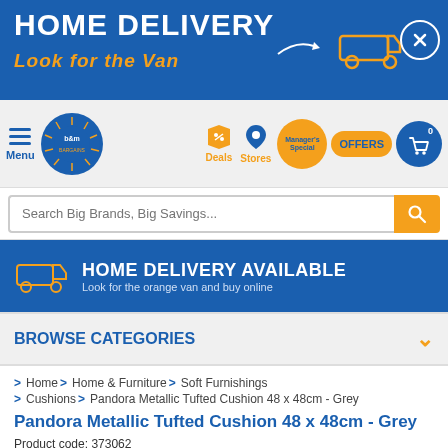[Figure (screenshot): B&M website home delivery banner — blue background with white bold text 'HOME DELIVERY', orange italic text 'LOOK FOR THE VAN', white arrow and van icon, circle X close button]
[Figure (screenshot): B&M website navigation bar — hamburger menu, B&M circular logo, Deals tag icon, Stores pin icon, Manager's Special badge, OFFERS badge, cart icon with 0]
[Figure (screenshot): Search bar with placeholder 'Search Big Brands, Big Savings...' and orange search button]
[Figure (screenshot): Blue banner: HOME DELIVERY AVAILABLE – Look for the orange van and buy online]
BROWSE CATEGORIES
> Home > Home & Furniture > Soft Furnishings
> Cushions > Pandora Metallic Tufted Cushion 48 x 48cm - Grey
Pandora Metallic Tufted Cushion 48 x 48cm - Grey
Product code: 373062